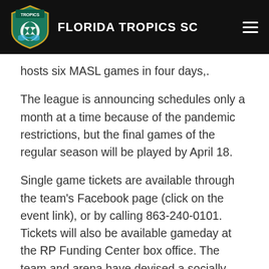FLORIDA TROPICS SC
hosts six MASL games in four days,.
The league is announcing schedules only a month at a time because of the pandemic restrictions, but the final games of the regular season will be played by April 18.
Single game tickets are available through the team's Facebook page (click on the event link), or by calling 863-240-0101. Tickets will also be available gameday at the RP Funding Center box office. The team and arena have devised a socially distanced seating plan that can accommodate approximately 1,500 fans per game. Facial coverings will be required for those in attendance.